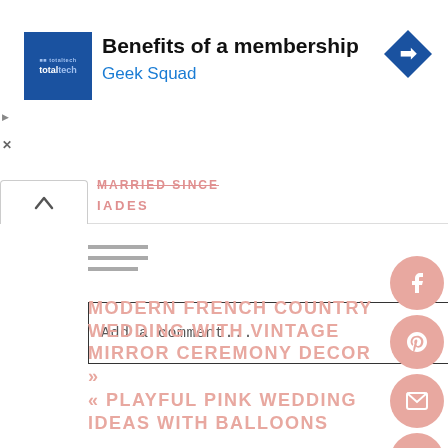[Figure (screenshot): Advertisement banner for Best Buy Total Tech membership featuring Geek Squad branding, with a blue logo square, bold title text 'Benefits of a membership', subtitle 'Geek Squad' in blue, and a blue diamond arrow icon on the right.]
IADES
[Figure (other): Hamburger menu icon with three horizontal grey lines]
Add a comment...
MODERN FRENCH COUNTRY WEDDING WITH VINTAGE MIRROR CEREMONY DECOR »
« PLAYFUL PINK WEDDING IDEAS WITH BALLOONS